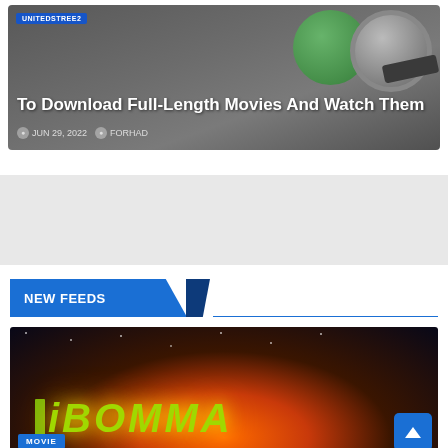[Figure (screenshot): Hero image with dark gray background showing a green circle and film reel graphic]
UNITEDSTREE2
To Download Full-Length Movies And Watch Them
JUN 29, 2022   FORHAD
NEW FEEDS
[Figure (screenshot): iBOMMA movie streaming website thumbnail with orange-dark gradient background and green-yellow iBOMMA logo text]